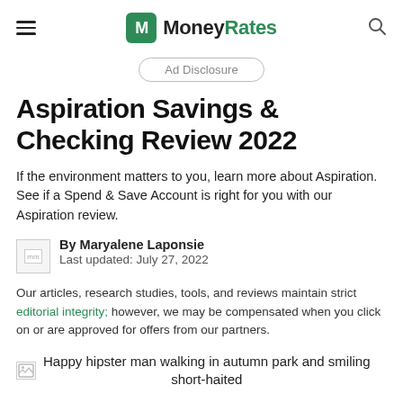MoneyRates
Ad Disclosure
Aspiration Savings & Checking Review 2022
If the environment matters to you, learn more about Aspiration. See if a Spend & Save Account is right for you with our Aspiration review.
By Maryalene Laponsie
Last updated: July 27, 2022
Our articles, research studies, tools, and reviews maintain strict editorial integrity; however, we may be compensated when you click on or are approved for offers from our partners.
[Figure (photo): Happy hipster man walking in autumn park and smiling short-haited]